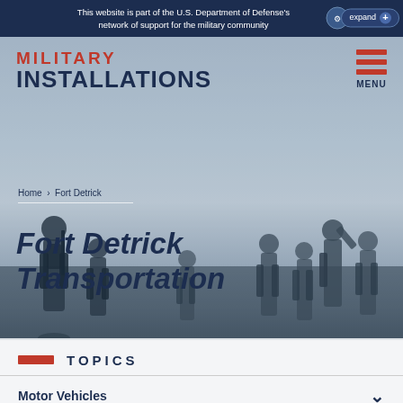This website is part of the U.S. Department of Defense's network of support for the military community
MILITARY INSTALLATIONS
[Figure (screenshot): Hero image with silhouettes of soldiers walking at dusk, with breadcrumb navigation and page title overlaid]
Home › Fort Detrick
Fort Detrick Transportation
TOPICS
Motor Vehicles